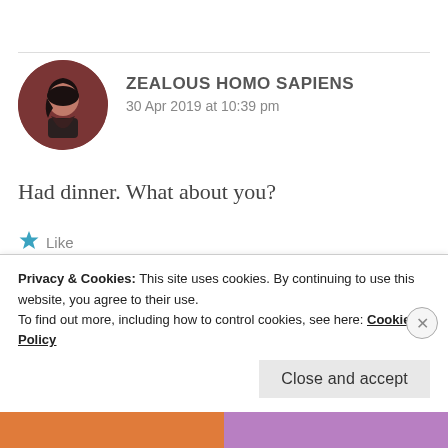ZEALOUS HOMO SAPIENS
30 Apr 2019 at 10:39 pm
Had dinner. What about you?
Like
Privacy & Cookies: This site uses cookies. By continuing to use this website, you agree to their use.
To find out more, including how to control cookies, see here: Cookie Policy
Close and accept